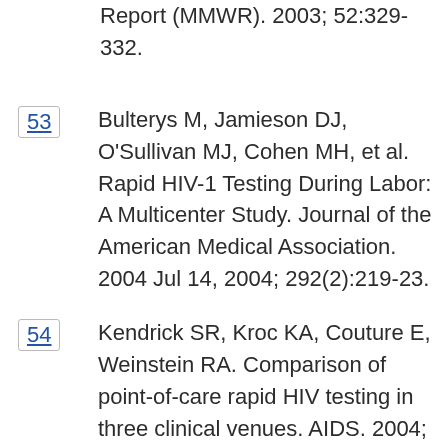Report (MMWR). 2003; 52:329-332.
53 Bulterys M, Jamieson DJ, O'Sullivan MJ, Cohen MH, et al. Rapid HIV-1 Testing During Labor: A Multicenter Study. Journal of the American Medical Association. 2004 Jul 14, 2004; 292(2):219-23.
54 Kendrick SR, Kroc KA, Couture E, Weinstein RA. Comparison of point-of-care rapid HIV testing in three clinical venues. AIDS. 2004; 18(16):2208-2210.
55 Kendrick SR, Kroc KA, Withum D,